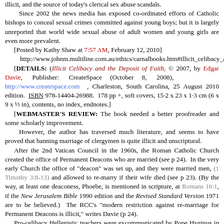illicit, and the source of today's clerical sex abuse scandals.

Since 2002 the news media has exposed co-ordinated efforts of Catholic bishops to conceal sexual crimes committed against young boys; but it is largely unreported that world wide sexual abuse of adult women and young girls are even more prevalent.
[Posted by Kathy Shaw at 7:57 AM, February 12, 2010]
http://www.johnm.multiline.com.au/ethics/carnalbooks.htm#illicit_celibacy_and
[DETAILS: (Illicit Celibacy and the Deposit of Faith, © 2007, by Edgar Davie, Publisher: CreateSpace (October 8, 2008), http://www.createspace.com , Charleston, South Carolina, 25 August 2010 edition. ISBN 978-14404-26988. 178 pp +, soft covers, 15·2 x 23 x 1·3 cm (6 x 9 x ½ in), contents, no index, endnotes.]
[WEBMASTER'S REVIEW: The book needed a better proofreader and some scholarly improvement.

However, the author has traversed much literature, and seems to have proved that banning marriage of clergymen is quite illicit and unscriptural.
After the 2nd Vatican Council in the 1960s, the Roman Catholic Church created the office of Permanent Deacons who are married (see p 24). In the very early Church the office of "deacon" was set up, and they were married men, (1 Timothy 3:8-13) and allowed to re-marry if their wife died (see p 23). (By the way, at least one deaconess, Phoebe, is mentioned in scripture, at Romans 16:1, if the New Jerusalem Bible 1990 edition and the Revised Standard Version 1971 are to be believed.) The RCC's "modern restriction against re-marriage for Permanent Deacons is illicit," writes Davie (p 24).
Pro-celibacy Hellenistic teachers were excommunicated by Pope Hyginus in A.D. 137 and Pope Pius I in A.D. 156 (p 48).
(As a relevant scripture notes, "If anyone does not know how to manage his own family, how can he take care of God's church?" (1 Timothy 3:5, NIV)
The content here...